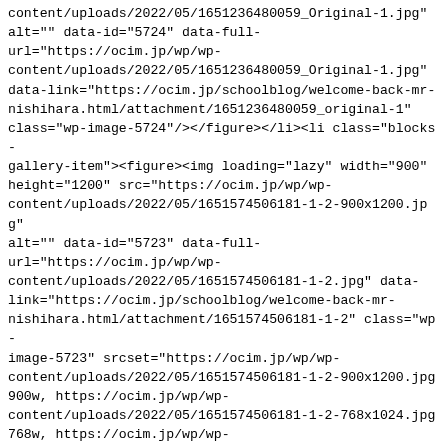content/uploads/2022/05/1651236480059_Original-1.jpg" alt="" data-id="5724" data-full-url="https://ocim.jp/wp/wp-content/uploads/2022/05/1651236480059_Original-1.jpg" data-link="https://ocim.jp/schoolblog/welcome-back-mr-nishihara.html/attachment/1651236480059_original-1" class="wp-image-5724"/></figure></li><li class="blocks-gallery-item"><figure><img loading="lazy" width="900" height="1200" src="https://ocim.jp/wp/wp-content/uploads/2022/05/1651574506181-1-2-900x1200.jpg" alt="" data-id="5723" data-full-url="https://ocim.jp/wp/wp-content/uploads/2022/05/1651574506181-1-2.jpg" data-link="https://ocim.jp/schoolblog/welcome-back-mr-nishihara.html/attachment/1651574506181-1-2" class="wp-image-5723" srcset="https://ocim.jp/wp/wp-content/uploads/2022/05/1651574506181-1-2-900x1200.jpg 900w, https://ocim.jp/wp/wp-content/uploads/2022/05/1651574506181-1-2-768x1024.jpg 768w, https://ocim.jp/wp/wp-content/uploads/2022/05/1651574506181-1-2.jpg 1108w" sizes="(max-width: 900px) 100vw, 900px" /></figure></li></ul></figure>
]]></content:encoded>
</item>
            </channel>
</rss>